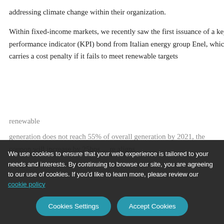addressing climate change within their organization.
Within fixed-income markets, we recently saw the first issuance of a key performance indicator (KPI) bond from Italian energy group Enel, which carries a cost penalty if it fails to meet renewable targets ... renewable generation does not reach 55% of overall generation by 2021, the coupon will increase by 25bps ... re aligns companies and investors.
We use cookies to ensure that your web experience is tailored to your needs and interests. By continuing to browse our site, you are agreeing to our use of cookies. If you'd like to learn more, please review our cookie policy.